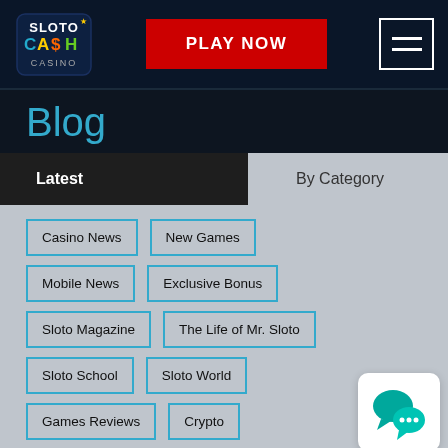Sloto Cash Casino - PLAY NOW - Navigation
Blog
Latest | By Category
Casino News
New Games
Mobile News
Exclusive Bonus
Sloto Magazine
The Life of Mr. Sloto
Sloto School
Sloto World
Games Reviews
Crypto